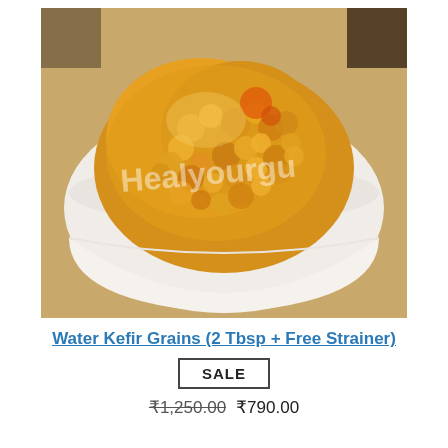[Figure (photo): A white bowl filled with translucent golden water kefir grains, with a watermark reading 'Healyourgu' overlaid on the image.]
Water Kefir Grains (2 Tbsp + Free Strainer)
SALE
₹1,250.00 ₹790.00